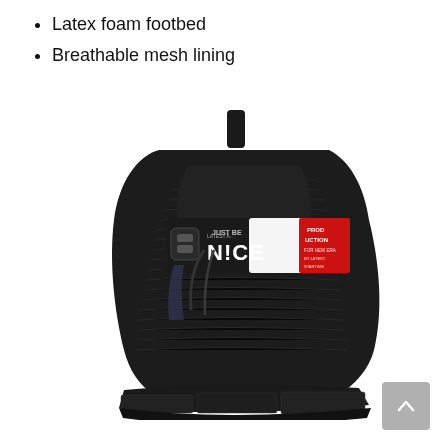Latex foam footbed
Breathable mesh lining
[Figure (photo): A black high-top sneaker/boot with knitted upper, decorative straps and buckle around the ankle area, white and red text graphic reading 'JUST BE NICE' on the strap, thick black sole, shown at an angle on white background.]